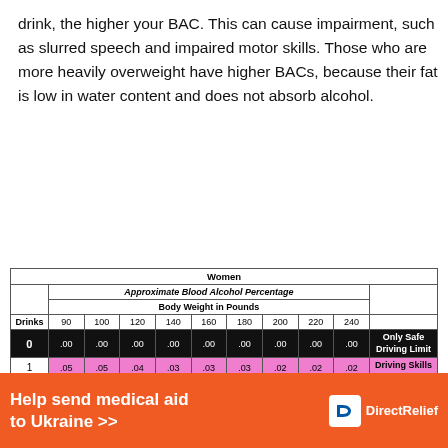drink, the higher your BAC. This can cause impairment, such as slurred speech and impaired motor skills. Those who are more heavily overweight have higher BACs, because their fat is low in water content and does not absorb alcohol.
| Women | Approximate Blood Alcohol Percentage |  |
| --- | --- | --- |
| Drinks | Body Weight in Pounds |  |
|  | 90 | 100 | 120 | 140 | 160 | 180 | 200 | 220 | 240 |  |
| 0 | .00 | .00 | .00 | .00 | .00 | .00 | .00 | .00 | .00 | Only Safe Driving Limit |
| 1 | .05 | .05 | .04 | .03 | .03 | .03 | .02 | .02 | .02 | Driving Skills Significantly Affected |
| 2 | .10 | .09 | .08 | .07 | .06 | .05 | .05 | .04 | .04 |  |
[Figure (infographic): Orange banner advertisement: Help send medical aid to Ukraine >> DirectRelief logo]